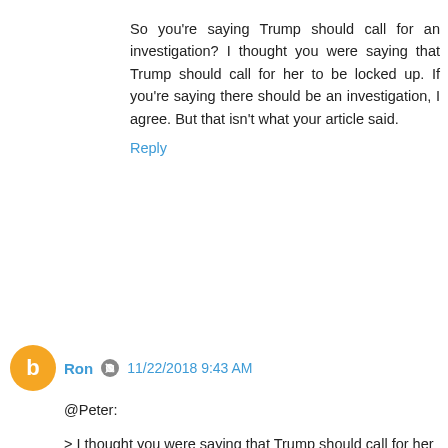So you're saying Trump should call for an investigation? I thought you were saying that Trump should call for her to be locked up. If you're saying there should be an investigation, I agree. But that isn't what your article said.
Reply
Ron  11/22/2018 9:43 AM
@Peter:
> I thought you were saying that Trump should call for her to be locked up.
Seriously? Are you really that incapable of recognizing rhetorical irony?
No, I am not saying that Trump should call for Ivanka to be locked up. I am pointing out how absurd and hypocritical it is for him to call for Hillary to be locked up and not Ivanka. At the risk of stating what should be ridiculously obvious to